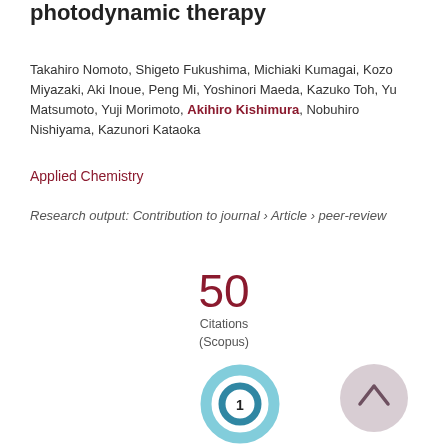photodynamic therapy
Takahiro Nomoto, Shigeto Fukushima, Michiaki Kumagai, Kozo Miyazaki, Aki Inoue, Peng Mi, Yoshinori Maeda, Kazuko Toh, Yu Matsumoto, Yuji Morimoto, Akihiro Kishimura, Nobuhiro Nishiyama, Kazunori Kataoka
Applied Chemistry
Research output: Contribution to journal › Article › peer-review
50 Citations (Scopus)
[Figure (donut-chart): Donut chart with value 1 in the center, teal/blue ring]
[Figure (other): Gray circular button with upward arrow]